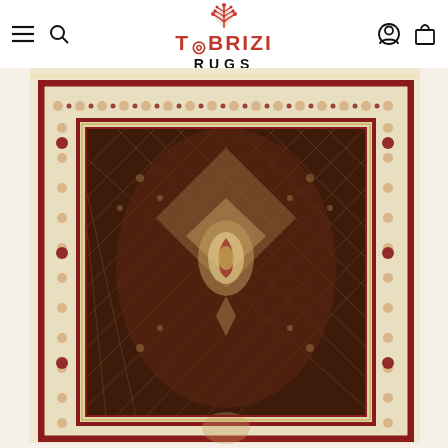[Figure (logo): Tabrizi Rugs logo with stylized wheat/grass icon above text]
[Figure (photo): Overhead photograph of a traditional Persian Tabriz rug with dark burgundy/maroon field, intricate Mahi (fish) medallion pattern, geometric lattice trellis design filling the field, central medallion with floral details, and cream/ivory border with repeating circular motifs and red accent border.]